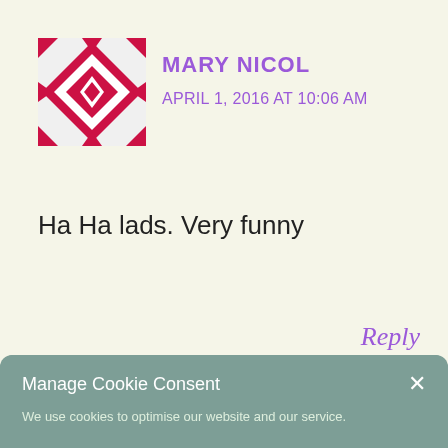[Figure (illustration): Red and white geometric/floral pattern avatar image]
MARY NICOL
APRIL 1, 2016 AT 10:06 AM
Ha Ha lads. Very funny
Reply
Manage Cookie Consent
We use cookies to optimise our website and our service.
All cookies
Deny